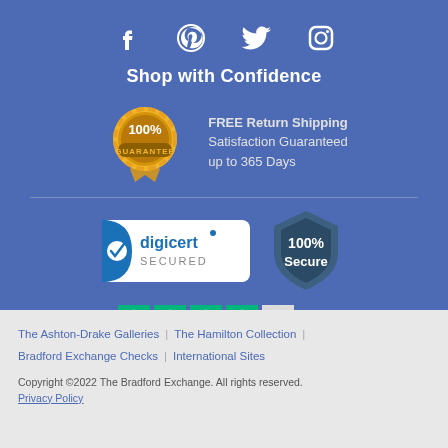[Figure (infographic): Social media icons: Facebook, Pinterest, Twitter, Instagram in white on blue background]
Shop with Confidence
[Figure (infographic): 100% Guarantee gold badge seal with text: FREE Return Shipping, Satisfaction Guaranteed up to 365 Days]
[Figure (infographic): DigiCert Secured badge and 100% Secure shield badge]
[Figure (infographic): Trustpilot rating: Great with 4 filled green stars and 1 empty star, Trustpilot logo]
The Ashton-Drake Galleries | The Hamilton Collection | Bradford Exchange Checks | International Sites
Copyright ©2022 The Bradford Exchange. All rights reserved.
Privacy Policy